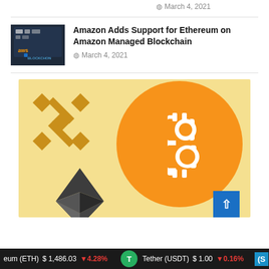March 4, 2021
[Figure (photo): Thumbnail image of AWS/blockchain interface screenshot with dark background, showing 'BLOCKCHON' text]
Amazon Adds Support for Ethereum on Amazon Managed Blockchain
March 4, 2021
[Figure (illustration): Cryptocurrency logos illustration: Binance logo (gold/yellow diamond shapes) on left, Bitcoin logo (orange circle with white B symbol) in center-right, Ethereum logo (dark 3D diamond shape) bottom left, on a light yellow background]
eum (ETH)  $ 1,486.03  ▼4.28%  T  Tether (USDT)  $ 1.00  ▼0.16%  ($